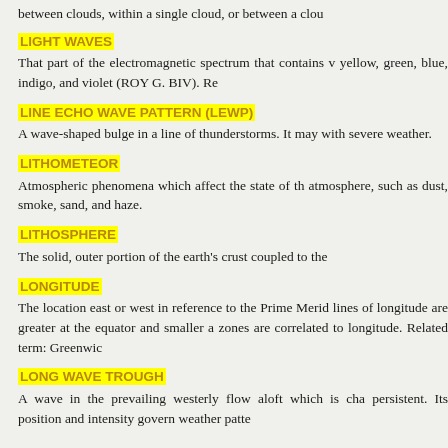between clouds, within a single cloud, or between a clou
LIGHT WAVES
That part of the electromagnetic spectrum that contains v yellow, green, blue, indigo, and violet (ROY G. BIV). Re
LINE ECHO WAVE PATTERN (LEWP)
A wave-shaped bulge in a line of thunderstorms. It may with severe weather.
LITHOMETEOR
Atmospheric phenomena which affect the state of th atmosphere, such as dust, smoke, sand, and haze.
LITHOSPHERE
The solid, outer portion of the earth's crust coupled to the
LONGITUDE
The location east or west in reference to the Prime Merid lines of longitude are greater at the equator and smaller a zones are correlated to longitude. Related term: Greenwic
LONG WAVE TROUGH
A wave in the prevailing westerly flow aloft which is cha persistent. Its position and intensity govern weather patte